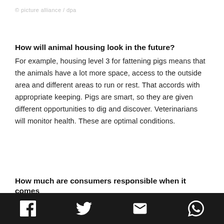© picture alliance / dpa
How will animal housing look in the future?
For example, housing level 3 for fattening pigs means that the animals have a lot more space, access to the outside area and different areas to run or rest. That accords with appropriate keeping. Pigs are smart, so they are given different opportunities to dig and discover. Veterinarians will monitor health. These are optimal conditions.
How much are consumers responsible when it comes
[Figure (infographic): Social media sharing bar with Facebook, Twitter, Email, and WhatsApp icons on a dark background]